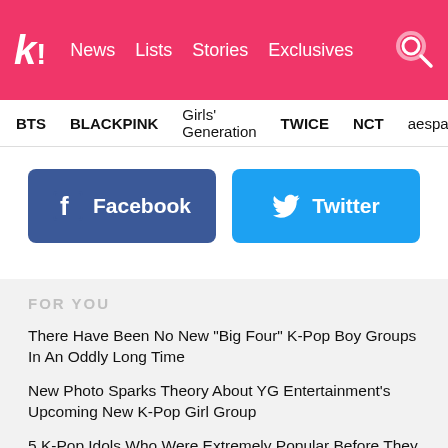k! News Lists Stories Exclusives
BTS BLACKPINK Girls' Generation TWICE NCT aespa
[Figure (other): Facebook social share button (blue, rounded rectangle with Facebook icon and text 'Facebook')]
[Figure (other): Twitter social share button (light blue, rounded rectangle with Twitter bird icon and text 'Twitter')]
FOR YOU
There Have Been No New "Big Four" K-Pop Boy Groups In An Oddly Long Time
New Photo Sparks Theory About YG Entertainment's Upcoming New K-Pop Girl Group
5 K-Pop Idols Who Were Extremely Popular Before They Debuted